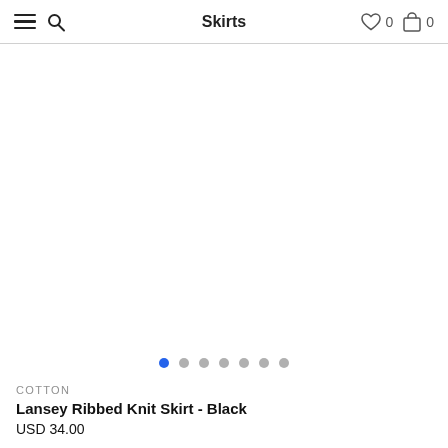Skirts
[Figure (other): Product image area - blank white space for product photo of Lansey Ribbed Knit Skirt - Black]
COTTON
Lansey Ribbed Knit Skirt - Black
USD 34.00